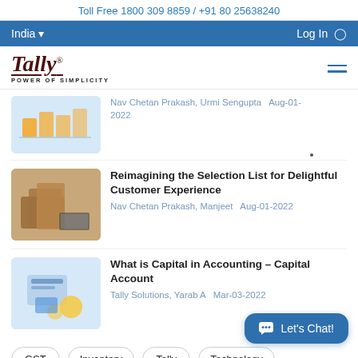Toll Free 1800 309 8859 / +91 80 25638240
India ▾   Log In
[Figure (logo): Tally logo with 'POWER OF SIMPLICITY' tagline]
Nav Chetan Prakash, Urmi Sengupta   Aug-01-2022
Reimagining the Selection List for Delightful Customer Experience
Nav Chetan Prakash, Manjeet   Aug-01-2022
What is Capital in Accounting – Capital Account
Tally Solutions, Yarab A   Mar-03-2022
GST
Inventory
Tally
Technology